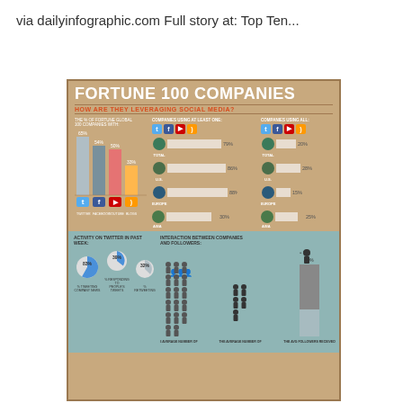via dailyinfographic.com Full story at: Top Ten...
[Figure (infographic): Fortune 100 Companies infographic showing how they leverage social media. Top section on tan background shows: bar chart of % of Fortune Global 100 companies with Twitter (65%), Facebook (54%), YouTube (50%), Blogs (33%); horizontal bar charts for companies using at least one social platform by region (Total 79%, U.S. 86%, Europe 88%, Asia 30%); horizontal bar charts for companies using all platforms by region (Total 20%, U.S. 28%, Europe 15%, Asia 25%). Bottom section on teal background shows Twitter activity pie charts (% tweeting company news 83%, % responding to people's tweets 39%, % retweeting 32%) and interaction between companies and followers section.]